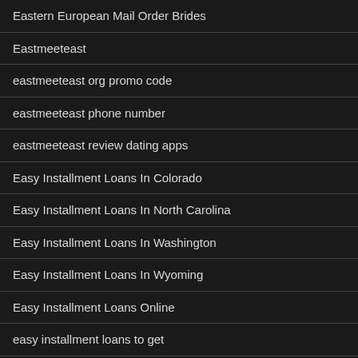Eastern European Mail Order Brides
Eastmeeteast
eastmeeteast org promo code
eastmeeteast phone number
eastmeeteast review dating apps
Easy Installment Loans In Colorado
Easy Installment Loans In North Carolina
Easy Installment Loans In Washington
Easy Installment Loans In Wyoming
Easy Installment Loans Online
easy installment loans to get
easy money payday loans